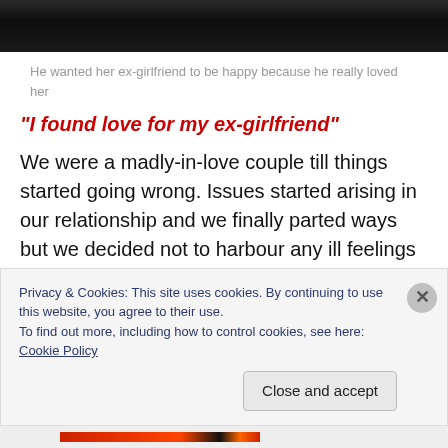[Figure (photo): Dark photo strip at the top of the page showing a shadowy outdoor scene]
He wanted her ex-girlfriend to be happy because he really loved her
“I found love for my ex-girlfriend”
We were a madly-in-love couple till things started going wrong. Issues started arising in our relationship and we finally parted ways but we decided not to harbour any ill feelings for each other since we had always respected each other.
Privacy & Cookies: This site uses cookies. By continuing to use this website, you agree to their use.
To find out more, including how to control cookies, see here: Cookie Policy